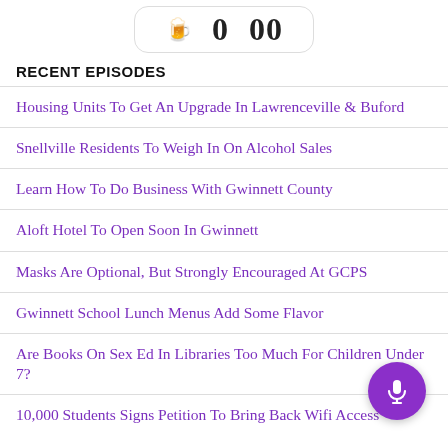[Figure (other): Podcast player widget showing emoji icons, 0 and 00 timer controls in a rounded rectangle box]
RECENT EPISODES
Housing Units To Get An Upgrade In Lawrenceville & Buford
Snellville Residents To Weigh In On Alcohol Sales
Learn How To Do Business With Gwinnett County
Aloft Hotel To Open Soon In Gwinnett
Masks Are Optional, But Strongly Encouraged At GCPS
Gwinnett School Lunch Menus Add Some Flavor
Are Books On Sex Ed In Libraries Too Much For Children Under 7?
10,000 Students Signs Petition To Bring Back Wifi Access